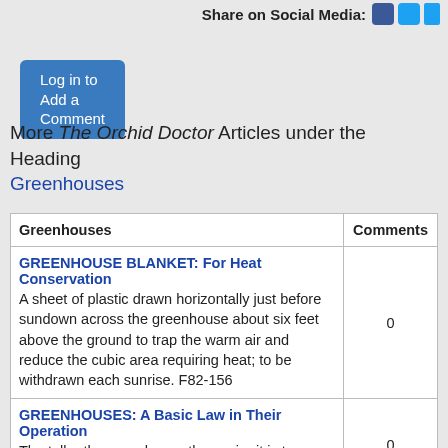Share on Social Media:
Log in to Add a Comment
More The Orchid Doctor Articles under the Heading Greenhouses
| Greenhouses | Comments |
| --- | --- |
| GREENHOUSE BLANKET: For Heat Conservation
A sheet of plastic drawn horizontally just before sundown across the greenhouse about six feet above the ground to trap the warm air and reduce the cubic area requiring heat; to be withdrawn each sunrise. F82-156 | 0 |
| GREENHOUSES: A Basic Law in Their Operation
The taller the greenhouse the easier it is to operate. OD67-298 | 0 |
| GREENHOUSES: Automatic By use of Envirorrdl designed for a fan heater of 2400 watts output at 10 amps, one evaporative cooler and a circulating fan; suitable for an area 12 ft. by 8 ft.; for details see | 0 |